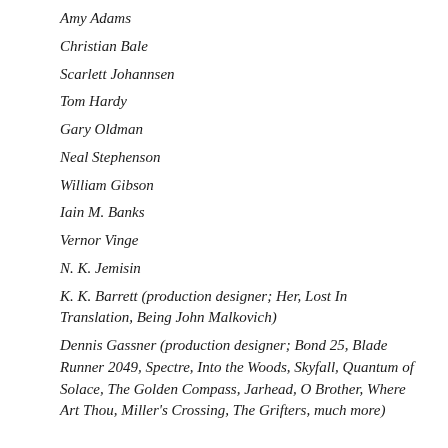Amy Adams
Christian Bale
Scarlett Johannsen
Tom Hardy
Gary Oldman
Neal Stephenson
William Gibson
Iain M. Banks
Vernor Vinge
N. K. Jemisin
K. K. Barrett (production designer; Her, Lost In Translation, Being John Malkovich)
Dennis Gassner (production designer; Bond 25, Blade Runner 2049, Spectre, Into the Woods, Skyfall, Quantum of Solace, The Golden Compass, Jarhead, O Brother, Where Art Thou, Miller's Crossing, The Grifters, much more)